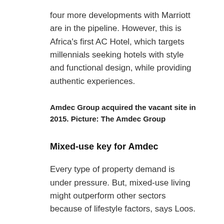four more developments with Marriott are in the pipeline. However, this is Africa's first AC Hotel, which targets millennials seeking hotels with style and functional design, while providing authentic experiences.
Amdec Group acquired the vacant site in 2015. Picture: The Amdec Group
Mixed-use key for Amdec
Every type of property demand is under pressure. But, mixed-use living might outperform other sectors because of lifestyle factors, says Loos.